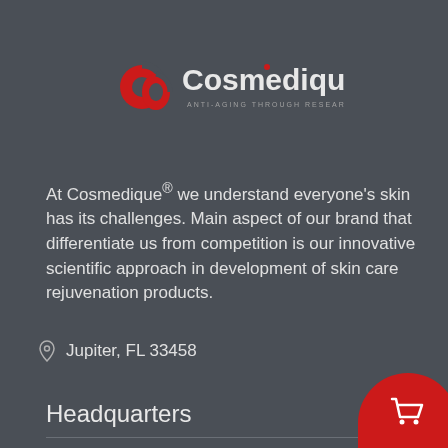[Figure (logo): Cosmedique logo with red swirl/C icon and text 'Cosmedique' with tagline 'ANTI-AGING THROUGH RESEARCH']
At Cosmedique® we understand everyone's skin has its challenges. Main aspect of our brand that differentiate us from competition is our innovative scientific approach in development of skin care rejuvenation products.
Jupiter, FL 33458
Headquarters
Careers
Privacy Policy
Research & Studies